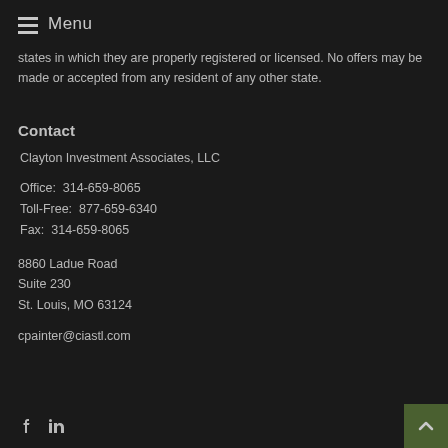Menu
states in which they are properly registered or licensed. No offers may be made or accepted from any resident of any other state.
Contact
Clayton Investment Associates, LLC
Office:  314-659-8065
Toll-Free:  877-659-6340
Fax:  314-659-8065
8860 Ladue Road
Suite 230
St. Louis, MO 63124
cpainter@ciastl.com
Facebook LinkedIn social icons; back to top button